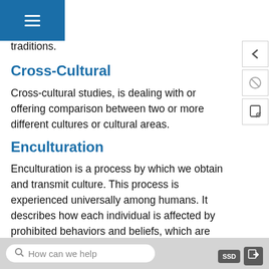tive in-depth reports about how insiders of a culture understand their rituals, beliefs, and traditions.
Cross-Cultural
Cross-cultural studies, is dealing with or offering comparison between two or more different cultures or cultural areas.
Enculturation
Enculturation is a process by which we obtain and transmit culture. This process is experienced universally among humans. It describes how each individual is affected by prohibited behaviors and beliefs, which are 'proscribed' rather than encouraged b...